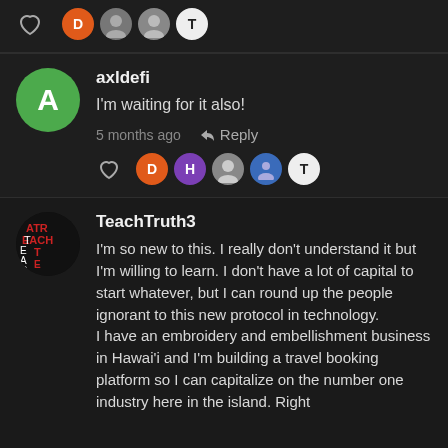[Figure (screenshot): Top strip with heart icon and user avatars (D, two photos, T)]
[Figure (screenshot): Comment by axldefi with green avatar letter A]
axldefi
I'm waiting for it also!
5 months ago   Reply
[Figure (screenshot): Like row with heart icon and avatars D, H, photo, photo, T]
[Figure (screenshot): Comment by TeachTruth3 with black logo avatar]
TeachTruth3
I'm so new to this. I really don't understand it but I'm willing to learn. I don't have a lot of capital to start whatever, but I can round up the people ignorant to this new protocol in technology.
I have an embroidery and embellishment business in Hawai'i and I'm building a travel booking platform so I can capitalize on the number one industry here in the island. Right